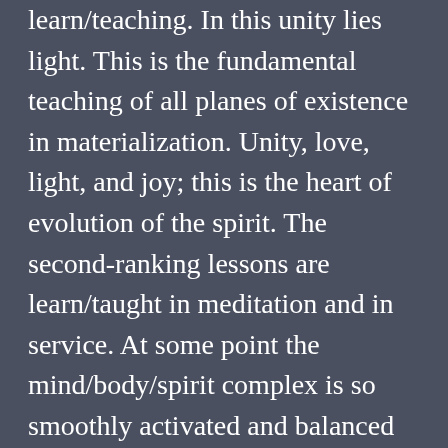learn/teaching. In this unity lies light. This is the fundamental teaching of all planes of existence in materialization. Unity, love, light, and joy; this is the heart of evolution of the spirit. The second-ranking lessons are learn/taught in meditation and in service. At some point the mind/body/spirit complex is so smoothly activated and balanced by these central thoughts or distortions that the techniques you have mentioned become quite significant. However, the universe, its mystery